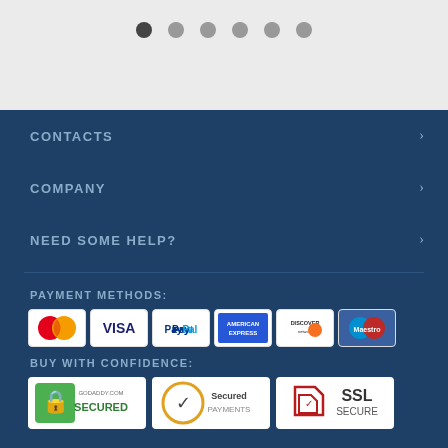[Figure (other): Carousel navigation dots — one dark filled circle followed by five lighter grey circles]
CONTACTS
COMPANY
NEED SOME HELP?
PAYMENT METHODS:
[Figure (other): Payment method icons: MasterCard, VISA, PayPal, American Express, Discover Network, Maestro]
BUY WITH CONFIDENCE:
[Figure (other): Trust badges: GoDaddy.com Secured, Secured Payments checkmark badge, SSL Secure shield badge]